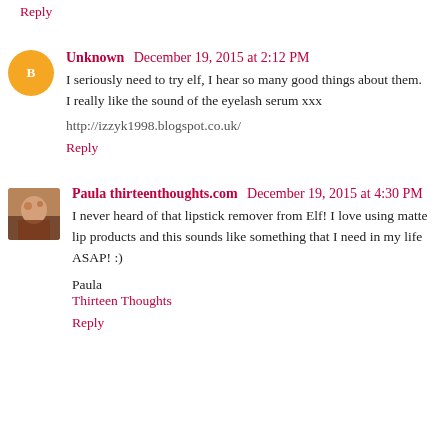Reply
Unknown  December 19, 2015 at 2:12 PM
I seriously need to try elf, I hear so many good things about them. I really like the sound of the eyelash serum xxx
http://izzyk1998.blogspot.co.uk/
Reply
Paula thirteenthoughts.com  December 19, 2015 at 4:30 PM
I never heard of that lipstick remover from Elf! I love using matte lip products and this sounds like something that I need in my life ASAP! :)
Paula
Thirteen Thoughts
Reply